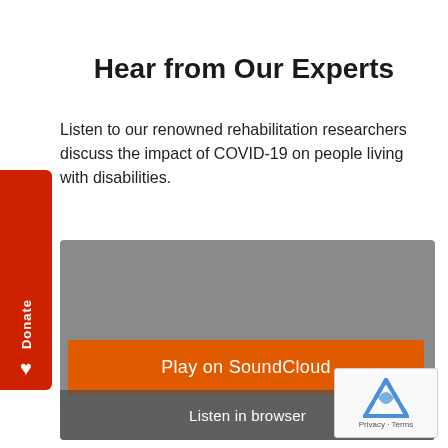Hear from Our Experts
Listen to our renowned rehabilitation researchers discuss the impact of COVID-19 on people living with disabilities.
[Figure (screenshot): SoundCloud audio player embed with gray background, orange 'Play on SoundCloud' button, and 'Listen in browser' bar at the bottom. A red 'Donate' tab is visible on the left side. A reCAPTCHA widget appears in the bottom right corner.]